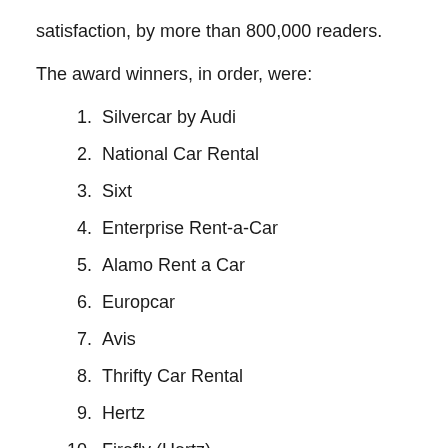satisfaction, by more than 800,000 readers.
The award winners, in order, were:
1. Silvercar by Audi
2. National Car Rental
3. Sixt
4. Enterprise Rent-a-Car
5. Alamo Rent a Car
6. Europcar
7. Avis
8. Thrifty Car Rental
9. Hertz
10. Firefly (Hertz)
11. Budget